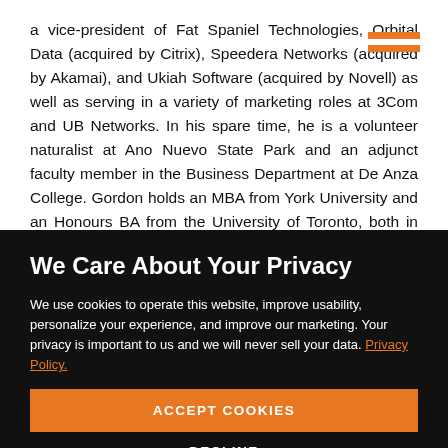a vice-president of Fat Spaniel Technologies, Orbital Data (acquired by Citrix), Speedera Networks (acquired by Akamai), and Ukiah Software (acquired by Novell) as well as serving in a variety of marketing roles at 3Com and UB Networks. In his spare time, he is a volunteer naturalist at Ano Nuevo State Park and an adjunct faculty member in the Business Department at De Anza College. Gordon holds an MBA from York University and an Honours BA from the University of Toronto, both in Toronto, Canada.
We Care About Your Privacy
We use cookies to operate this website, improve usability, personalize your experience, and improve our marketing. Your privacy is important to us and we will never sell your data. Privacy Policy.
ACCEPT COOKIES
DECLINE